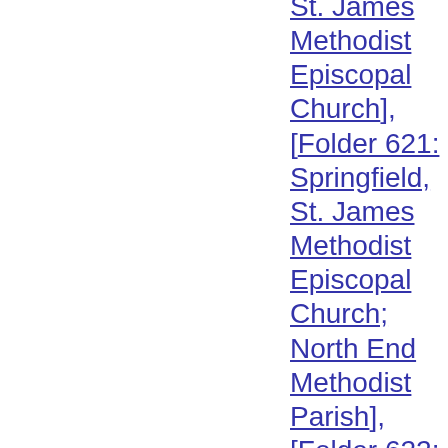St. James Methodist Episcopal Church], [Folder 621: Springfield, St. James Methodist Episcopal Church; North End Methodist Parish], [Folder 622: Springfield, St. James Methodist Episcopal Church; North End Methodist Parish], [Folder 623: Springfield, St. James Methodist Episcopal Church; North End Methodist Parish], [Folder 624: Springfield, St. James Methodist Episcopal Church; North End Methodist Parish], [Folder 625: Springfield, State Street Church], [Folder 626: Springfield, Swedish MEC], [Folder 627: Springfield, Trinity Methodist